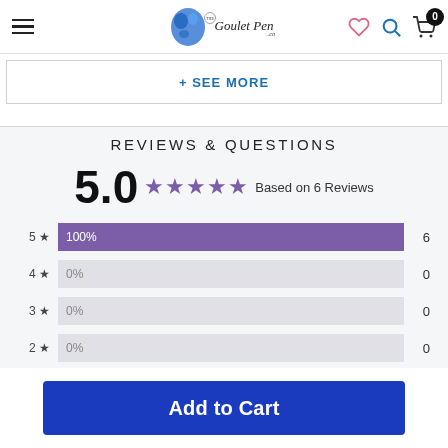The Goulet Pen Co. navigation header with hamburger menu, logo, wishlist, search, and cart (0 items)
+ SEE MORE
REVIEWS & QUESTIONS
5.0 ★★★★★ Based on 6 Reviews
[Figure (bar-chart): Star rating distribution]
Add to Cart